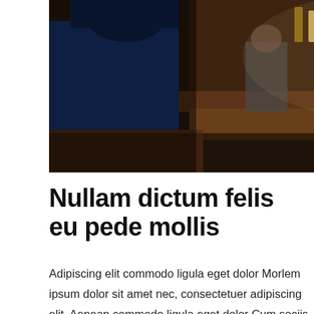[Figure (photo): Interior of a bar/restaurant scene. People standing and sitting at a wooden bar counter. A person in a blue shirt is seen from behind on the left, and a woman in an orange dress is visible in the center-right. Bottles and bar equipment visible on shelves in the background.]
Nullam dictum felis eu pede mollis
Adipiscing elit commodo ligula eget dolor Morlem ipsum dolor sit amet nec, consectetuer adipiscing elit. Aenean commodo ligula eget dolor Cum sociis natoque penatibus et magnis dis parturient montes. Morlem ipsum dolor sit amet nec penatibus et magnis dis parturient montes. Morlem ipsum dolor sit amet nec, consectetuer adipiscing elit. Aenean commodo ligula eget dolor. Aenean massa. Cum sociis natoque penatibus et magnis dis parturient montes. Morlem